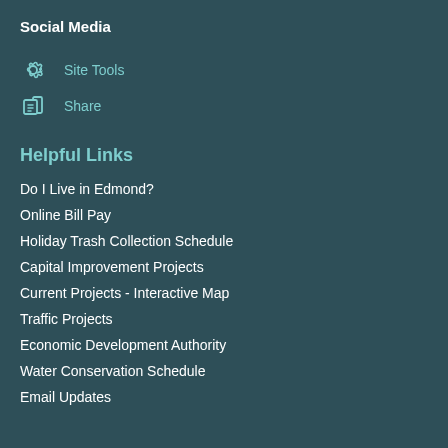Social Media
Site Tools
Share
Helpful Links
Do I Live in Edmond?
Online Bill Pay
Holiday Trash Collection Schedule
Capital Improvement Projects
Current Projects - Interactive Map
Traffic Projects
Economic Development Authority
Water Conservation Schedule
Email Updates